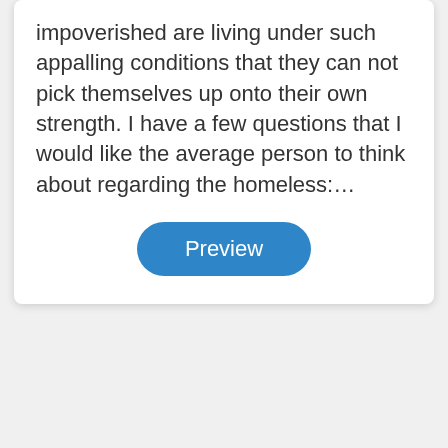impoverished are living under such appalling conditions that they can not pick themselves up onto their own strength. I have a few questions that I would like the average person to think about regarding the homeless:…
Preview